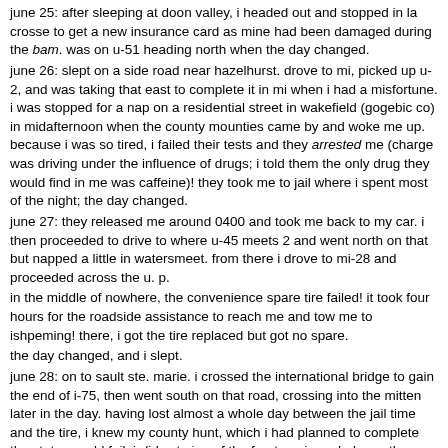june 25: after sleeping at doon valley, i headed out and stopped in la crosse to get a new insurance card as mine had been damaged during the bam. was on u-51 heading north when the day changed.
june 26: slept on a side road near hazelhurst. drove to mi, picked up u-2, and was taking that east to complete it in mi when i had a misfortune. i was stopped for a nap on a residential street in wakefield (gogebic co) in midafternoon when the county mounties came by and woke me up. because i was so tired, i failed their tests and they arrested me (charge was driving under the influence of drugs; i told them the only drug they would find in me was caffeine)! they took me to jail where i spent most of the night; the day changed.
june 27: they released me around 0400 and took me back to my car. i then proceeded to drive to where u-45 meets 2 and went north on that but napped a little in watersmeet. from there i drove to mi-28 and proceeded across the u. p.
in the middle of nowhere, the convenience spare tire failed! it took four hours for the roadside assistance to reach me and tow me to ishpeming! there, i got the tire replaced but got no spare.
the day changed, and i slept.
june 28: on to sault ste. marie. i crossed the international bridge to gain the end of i-75, then went south on that road, crossing into the mitten later in the day. having lost almost a whole day between the jail time and the tire, i knew my county hunt, which i had planned to complete the state, would fail. i did get nine of the fourteen i needed, mostly along i-75 with a side trip to pick up oscoda and montmorency. the day changed before i completed the latter.
june 29: finished the counties on 75 north of bay city, then went